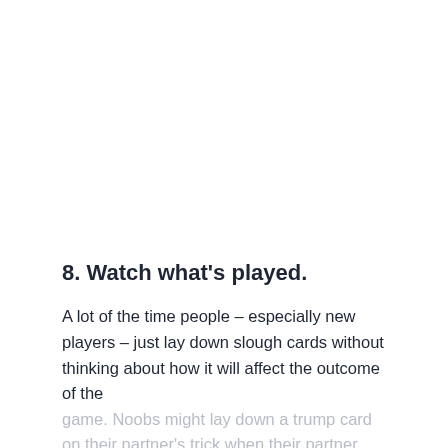8. Watch what's played.
A lot of the time people – especially new players – just lay down slough cards without thinking about how it will affect the outcome of the game. Noobs might lay down a trump card on their partner's trick when their partner was